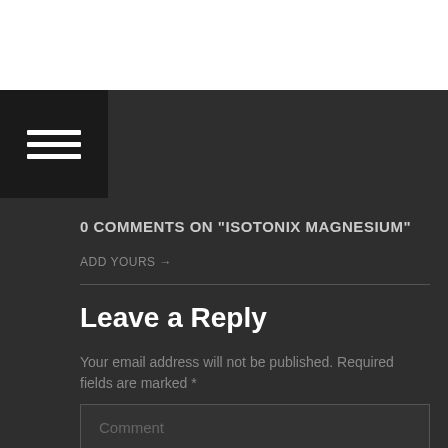[Figure (other): Hamburger menu icon (three horizontal white bars on dark background)]
0 COMMENTS ON "ISOTONIX MAGNESIUM"
ADD YOURS →
Leave a Reply
Your email address will not be published. Required fields are marked *
Comment